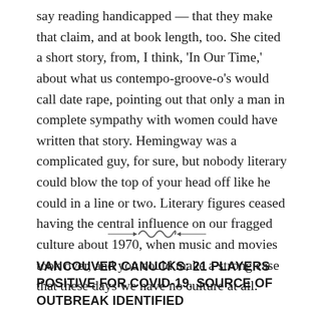say reading handicapped — that they make that claim, and at book length, too. She cited a short story, from, I think, 'In Our Time,' about what us contempo-groove-o's would call date rape, pointing out that only a man in complete sympathy with women could have written that story. Hemingway was a complicated guy, for sure, but nobody literary could blow the top of your head off like he could in a line or two. Literary figures ceased having the central influence on our fragged culture about 1970, when music and movies took over, and you could make a strong case that these days we have no culture at all.
[Figure (illustration): Decorative ornamental divider with scrollwork design]
VANCOUVER CANUCKS: 21 PLAYERS POSITIVE FOR COVID-19, SOURCE OF OUTBREAK IDENTIFIED